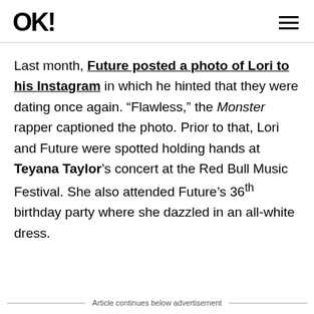OK!
Last month, Future posted a photo of Lori to his Instagram in which he hinted that they were dating once again. “Flawless,” the Monster rapper captioned the photo. Prior to that, Lori and Future were spotted holding hands at Teyana Taylor’s concert at the Red Bull Music Festival. She also attended Future’s 36th birthday party where she dazzled in an all-white dress.
Article continues below advertisement